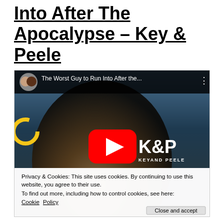Into After The Apocalypse – Key & Peele
[Figure (screenshot): YouTube video thumbnail for 'The Worst Guy to Run Into After the...' Key & Peele video, showing a man in post-apocalyptic gear with goggles, a Comedy Central logo, K&P Key and Peele branding, and a YouTube play button. A cookie consent banner overlays the bottom.]
Privacy & Cookies: This site uses cookies. By continuing to use this website, you agree to their use.
To find out more, including how to control cookies, see here: Cookie Policy
Close and accept